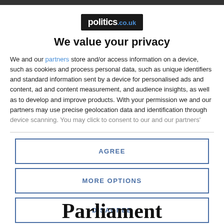[Figure (logo): politics.co.uk logo — white text on black background]
We value your privacy
We and our partners store and/or access information on a device, such as cookies and process personal data, such as unique identifiers and standard information sent by a device for personalised ads and content, ad and content measurement, and audience insights, as well as to develop and improve products. With your permission we and our partners may use precise geolocation data and identification through device scanning. You may click to consent to our and our partners'
AGREE
MORE OPTIONS
DISAGREE
Parliament